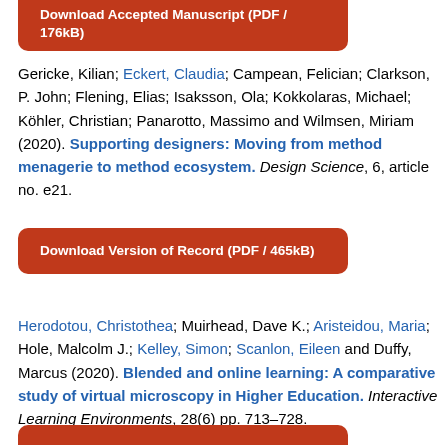[Figure (other): Red/orange rounded button: Download Accepted Manuscript (PDF / 176kB) — partially visible at top]
Gericke, Kilian; Eckert, Claudia; Campean, Felician; Clarkson, P. John; Flening, Elias; Isaksson, Ola; Kokkolaras, Michael; Köhler, Christian; Panarotto, Massimo and Wilmsen, Miriam (2020). Supporting designers: Moving from method menagerie to method ecosystem. Design Science, 6, article no. e21.
[Figure (other): Red/orange rounded button: Download Version of Record (PDF / 465kB)]
Herodotou, Christothea; Muirhead, Dave K.; Aristeidou, Maria; Hole, Malcolm J.; Kelley, Simon; Scanlon, Eileen and Duffy, Marcus (2020). Blended and online learning: A comparative study of virtual microscopy in Higher Education. Interactive Learning Environments, 28(6) pp. 713–728.
[Figure (other): Red/orange rounded button partially visible at bottom of page]